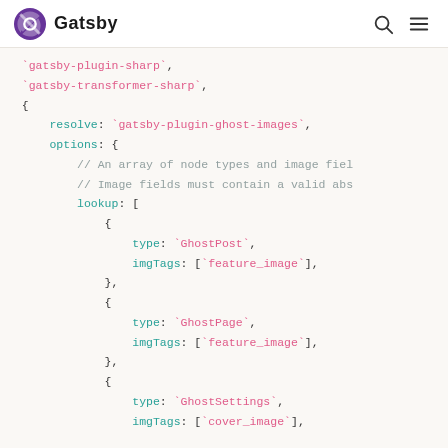Gatsby
Code block showing gatsby configuration with gatsby-plugin-sharp, gatsby-transformer-sharp, resolve: gatsby-plugin-ghost-images, options with lookup array containing GhostPost, GhostPage, GhostSettings entries